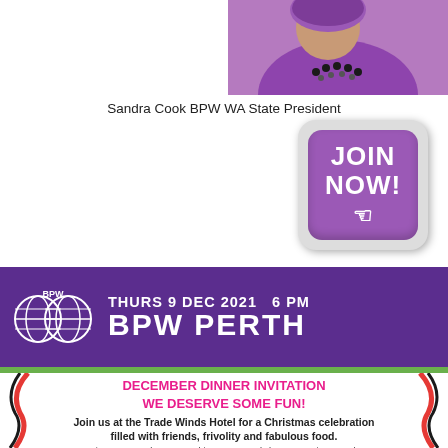[Figure (photo): Partial photo of a woman in purple attire with necklace - Sandra Cook BPW WA State President]
Sandra Cook BPW WA State President
[Figure (illustration): Purple JOIN NOW! button with cursor icon in a rounded rectangle]
[Figure (logo): BPW logo with two globe icons side by side, white on purple background. Banner reads THURS 9 DEC 2021  6 PM / BPW PERTH]
THURS 9 DEC 2021   6 PM
BPW PERTH
DECEMBER DINNER INVITATION
WE DESERVE SOME FUN!
Join us at the Trade Winds Hotel for a Christmas celebration filled with friends, frivolity and fabulous food.
It's time to recap the year's achievements and share some time together. Enjoy a meal and drinks in one of Fremantle's iconic hotels!